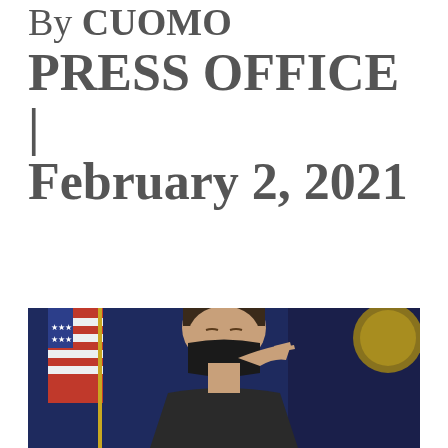By CUOMO PRESS OFFICE | February 2, 2021
[Figure (photo): Photo of a man wearing a black mask, adjusting it with his hand. American flags and a blue curtain/drape are visible in the background, along with what appears to be an official seal.]